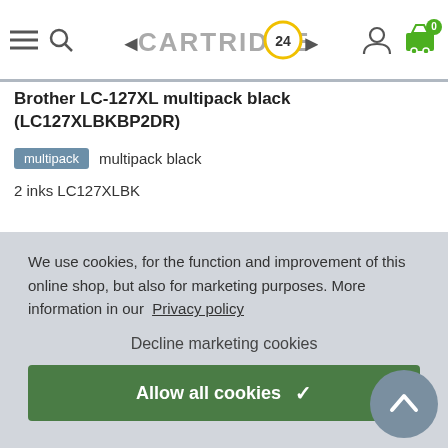CARTRIDGE 24 — navigation header with hamburger menu, search, logo, user icon, and cart (0 items)
Brother LC-127XL multipack black (LC127XLBKBP2DR)
multipack   multipack black
2 inks LC127XLBK
We use cookies, for the function and improvement of this online shop, but also for marketing purposes. More information in our Privacy policy
Decline marketing cookies
Allow all cookies ✓